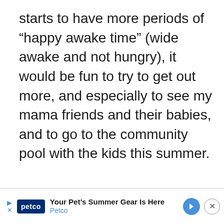starts to have more periods of “happy awake time” (wide awake and not hungry), it would be fun to try to get out more, and especially to see my mama friends and their babies, and to go to the community pool with the kids this summer.
[Figure (other): Petco advertisement banner at bottom of page. Shows Petco logo, text 'Your Pet’s Summer Gear Is Here' and 'Petco', a blue directional arrow icon, and a close (X) button.]